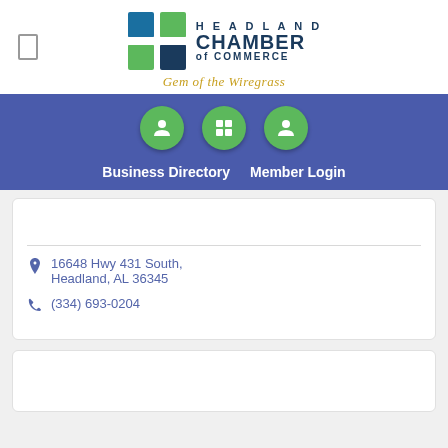[Figure (logo): Headland Chamber of Commerce logo with stylized H icon in blue and green, tagline 'Gem of the Wiregrass' in gold italic]
[Figure (screenshot): Blue navigation bar with three green circular icon buttons (person, grid/apps, person) and navigation links: Business Directory, Member Login]
16648 Hwy 431 South, Headland, AL 36345
(334) 693-0204